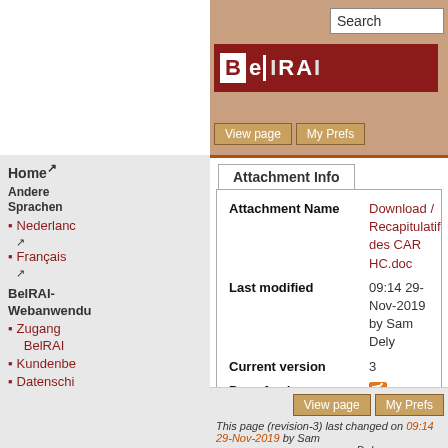Search | BelRAI | View page | My Prefs
Attachment Info
| Attachment Name | Download / Recapitulatif des CAR HC.doc |
| --- | --- |
| Last modified | 09:14 29-Nov-2019 by Sam Delye |
| Current version | 3 |
| Page feed |  |
| Page Revision History | Show first revisions from 3 to 1 |
| Version | Date | Author | Size |
| --- | --- | --- | --- |
| 3 | 09:14 29-Nov-2019 | Sam Delye | 6809 |
| 2 | 09:14 29-Nov-2019 | Sam Delye | 6809 |
| 1 | 09:14 29-Nov-2019 | Sam Delye | 6860 |
Home
Andere Sprachen
Nederland
Français
BelRAI-Webanwendu
Zugang BelRAI
Kundenbe
Datenschi
Beurteilungsi
BelRAI Screener 2.0
interRAI Emergency Departme Screener
InterRAI
View page | My Prefs | This page (revision-3) last changed on 09:14 29-Nov-2019 by Sam Delye